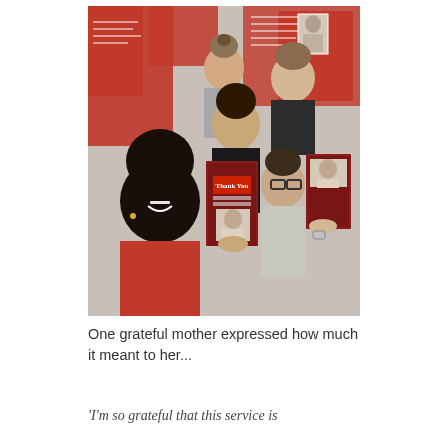[Figure (photo): Group selfie of five women smiling, some holding red pamphlets/brochures that read 'Thank You', in front of a wall with red posters. One woman in foreground wears a red top.]
One grateful mother expressed how much it meant to her...
'I'm so grateful that this service is